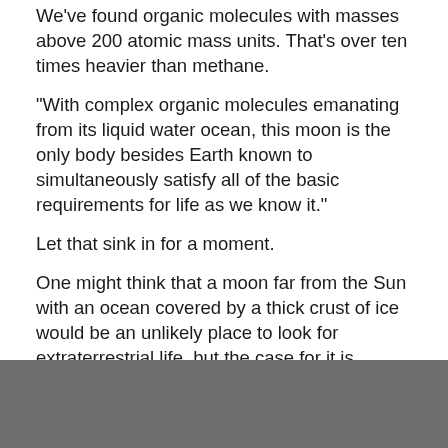We've found organic molecules with masses above 200 atomic mass units. That's over ten times heavier than methane.
"With complex organic molecules emanating from its liquid water ocean, this moon is the only body besides Earth known to simultaneously satisfy all of the basic requirements for life as we know it."
Let that sink in for a moment.
One might think that a moon far from the Sun with an ocean covered by a thick crust of ice would be an unlikely place to look for extraterrestrial life, but the case for it is mounting.
[Figure (other): Dark gray banner/footer bar at the bottom of the page]